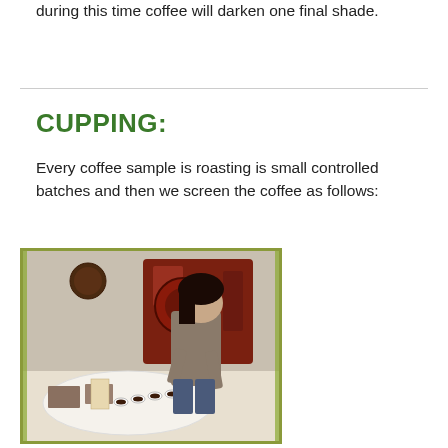during this time coffee will darken one final shade.
CUPPING:
Every coffee sample is roasting is small controlled batches and then we screen the coffee as follows:
[Figure (photo): A person leaning over a round table with multiple small cups of coffee for cupping/tasting, with a large red coffee roasting machine visible in the background.]